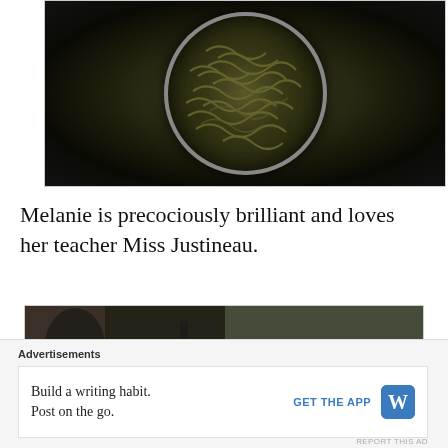[Figure (photo): Dark overhead photo of a round metal container filled with worms/larvae viewed from above against a dark background]
Melanie is precociously brilliant and loves her teacher Miss Justineau.
[Figure (photo): Dark partial photo showing a person in shadows, dimly lit interior]
Advertisements
Build a writing habit.
Post on the go.
GET THE APP